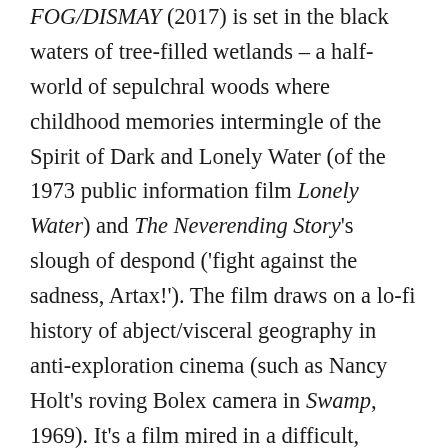FOG/DISMAY (2017) is set in the black waters of tree-filled wetlands – a half-world of sepulchral woods where childhood memories intermingle of the Spirit of Dark and Lonely Water (of the 1973 public information film Lonely Water) and The Neverending Story's slough of despond ('fight against the sadness, Artax!'). The film draws on a lo-fi history of abject/visceral geography in anti-exploration cinema (such as Nancy Holt's roving Bolex camera in Swamp, 1969). It's a film mired in a difficult, recalcitrant environment, in which your footing cannot be trusted, and even the ground is full of liquid reflections.